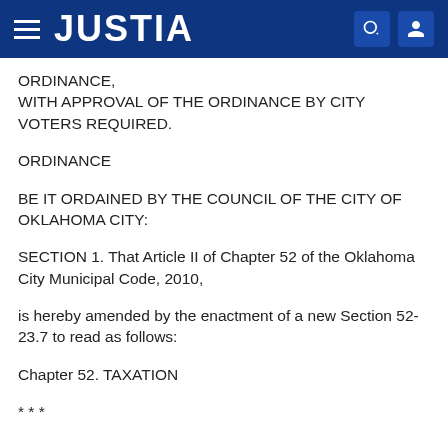JUSTIA
ORDINANCE,
WITH APPROVAL OF THE ORDINANCE BY CITY VOTERS REQUIRED.
ORDINANCE
BE IT ORDAINED BY THE COUNCIL OF THE CITY OF OKLAHOMA CITY:
SECTION 1. That Article II of Chapter 52 of the Oklahoma City Municipal Code, 2010,
is hereby amended by the enactment of a new Section 52-23.7 to read as follows:
Chapter 52. TAXATION
* * *